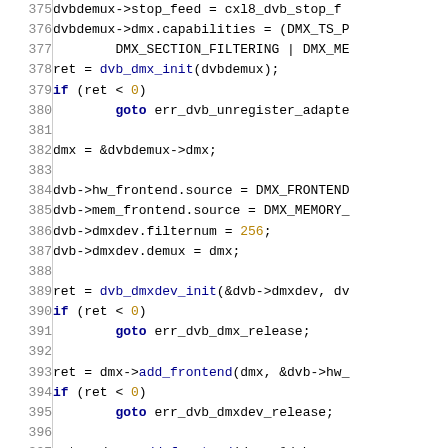[Figure (screenshot): Source code listing (C language) showing lines 375–405 of a DVB demux initialization function, with line numbers in grey on the left and syntax highlighting in blue/gold on the right.]